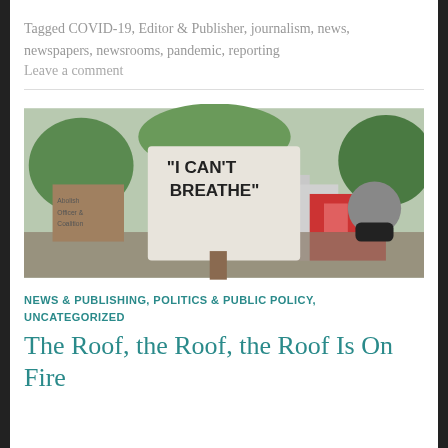Tagged COVID-19, Editor & Publisher, journalism, news, newspapers, newsrooms, pandemic, reporting
Leave a comment
[Figure (photo): Protest photo showing a person holding a sign reading 'I CAN'T BREATHE' at a demonstration, with other protesters and a person in a black mask visible in the background.]
NEWS & PUBLISHING, POLITICS & PUBLIC POLICY, UNCATEGORIZED
The Roof, the Roof, the Roof Is On Fire